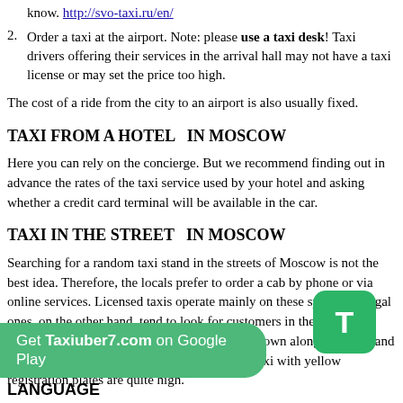know. http://svo-taxi.ru/en/
2. Order a taxi at the airport. Note: please use a taxi desk! Taxi drivers offering their services in the arrival hall may not have a taxi license or may set the price too high.
The cost of a ride from the city to an airport is also usually fixed.
TAXI FROM A HOTEL  IN MOSCOW
Here you can rely on the concierge. But we recommend finding out in advance the rates of the taxi service used by your hotel and asking whether a credit card terminal will be available in the car.
TAXI IN THE STREET  IN MOSCOW
Searching for a random taxi stand in the streets of Moscow is not the best idea. Therefore, the locals prefer to order a cab by phone or via online services. Licensed taxis operate mainly on these systems. Illegal ones, on the other hand, tend to look for customers in the streets. However, if you are walking somewhere downtown along a well-lit and crowded street, your chances of seeing a free taxi with yellow registration plates are quite high.
Get Taxiuber7.com on Google Play
LANGUAGE